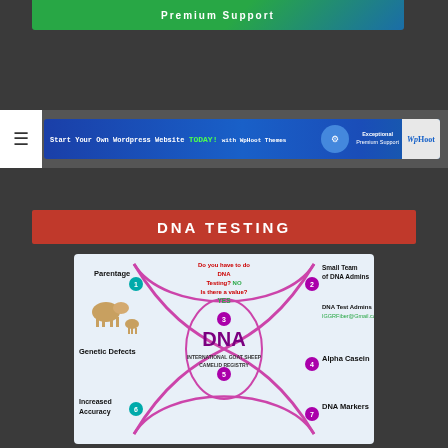[Figure (screenshot): Green and blue gradient banner for website hosting/WordPress premium support]
[Figure (screenshot): Blue banner: Start Your Own Wordpress Website TODAY! with WpHoot Themes - Exceptional Premium Support, WpHoot logo]
DNA TESTING
[Figure (infographic): DNA double helix infographic for International Goat Sheep Camelid Registry showing: 1-Parentage (goat image), 2-Small Team of DNA Admins, 3-(center intersection), 4-Alpha Casein, 5-(center DNA label), 6-Increased Accuracy, 7-DNA Markers. Center label: DNA INTERNATIONAL GOAT SHEEP CAMELID REGISTRY. Question text: Do you have to do DNA Testing? NO Is there a value? YES. DNA Test Admins IGGRFiber@Gmail.com]